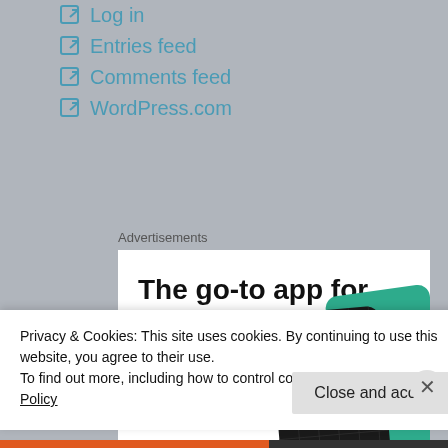Log in
Entries feed
Comments feed
WordPress.com
Advertisements
[Figure (infographic): Advertisement for a podcast app. Bold text reads 'The go-to app for podcast lovers.' with red text 'Download now' and images of dark and green app cards on the right.]
Privacy & Cookies: This site uses cookies. By continuing to use this website, you agree to their use.
To find out more, including how to control cookies, see here: Cookie Policy
Close and accept